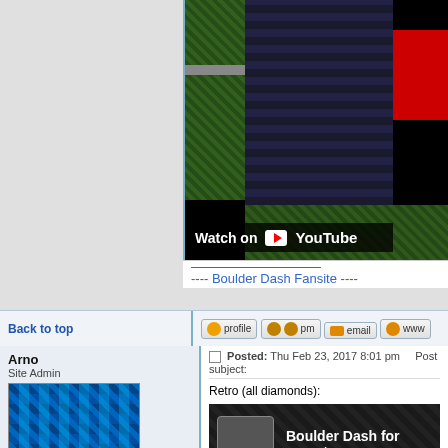[Figure (screenshot): YouTube video screenshot showing a Boulder Dash game with pixel art, green tiles, dark background, and a red box in the upper right. 'Watch on YouTube' overlay at bottom.]
---- Boulder Dash Fansite ----
Back to top
profile  pm  email  www
Arno
Site Admin
Joined: 17 Mar 2007
Posts: 2671
Location: netherlands
Posted: Thu Feb 23, 2017 8:01 pm    Post subject:
Retro (all diamonds):
[Figure (screenshot): YouTube video thumbnail showing 'Boulder Dash for experts -' text with a game thumbnail icon on dark tiled background.]